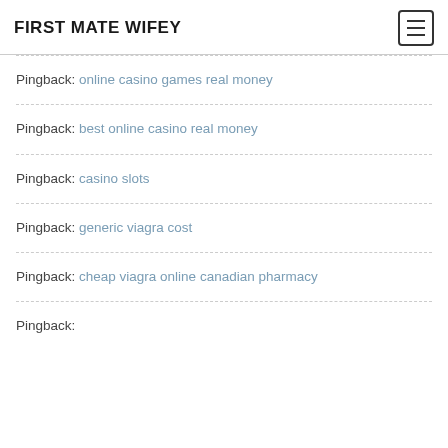FIRST MATE WIFEY
Pingback: online casino games real money
Pingback: best online casino real money
Pingback: casino slots
Pingback: generic viagra cost
Pingback: cheap viagra online canadian pharmacy
Pingback: (partial, cut off)